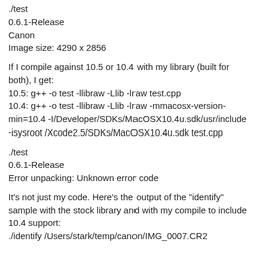./test
0.6.1-Release
Canon
Image size: 4290 x 2856
If I compile against 10.5 or 10.4 with my library (built for both), I get:
10.5: g++ -o test -llibraw -Llib -lraw test.cpp
10.4: g++ -o test -llibraw -Llib -lraw -mmacosx-version-min=10.4 -I/Developer/SDKs/MacOSX10.4u.sdk/usr/include -isysroot /Xcode2.5/SDKs/MacOSX10.4u.sdk test.cpp
./test
0.6.1-Release
Error unpacking: Unknown error code
It's not just my code. Here's the output of the "identify" sample with the stock library and with my compile to include 10.4 support:
./identify /Users/stark/temp/canon/IMG_0007.CR2